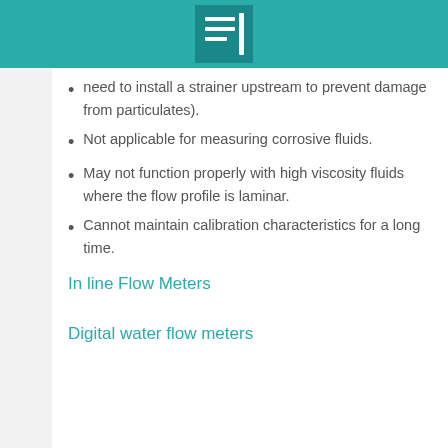need to install a strainer upstream to prevent damage from particulates).
Not applicable for measuring corrosive fluids.
May not function properly with high viscosity fluids where the flow profile is laminar.
Cannot maintain calibration characteristics for a long time.
In line Flow Meters
Digital water flow meters